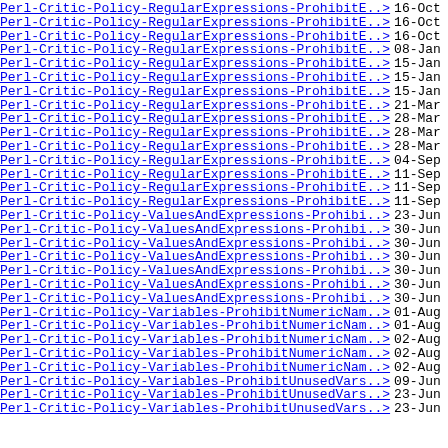Perl-Critic-Policy-RegularExpressions-ProhibitE..> 16-Oct
Perl-Critic-Policy-RegularExpressions-ProhibitE..> 16-Oct
Perl-Critic-Policy-RegularExpressions-ProhibitE..> 16-Oct
Perl-Critic-Policy-RegularExpressions-ProhibitE..> 08-Jan
Perl-Critic-Policy-RegularExpressions-ProhibitE..> 15-Jan
Perl-Critic-Policy-RegularExpressions-ProhibitE..> 15-Jan
Perl-Critic-Policy-RegularExpressions-ProhibitE..> 15-Jan
Perl-Critic-Policy-RegularExpressions-ProhibitE..> 21-Mar
Perl-Critic-Policy-RegularExpressions-ProhibitE..> 28-Mar
Perl-Critic-Policy-RegularExpressions-ProhibitE..> 28-Mar
Perl-Critic-Policy-RegularExpressions-ProhibitE..> 28-Mar
Perl-Critic-Policy-RegularExpressions-ProhibitE..> 04-Sep
Perl-Critic-Policy-RegularExpressions-ProhibitE..> 11-Sep
Perl-Critic-Policy-RegularExpressions-ProhibitE..> 11-Sep
Perl-Critic-Policy-RegularExpressions-ProhibitE..> 11-Sep
Perl-Critic-Policy-ValuesAndExpressions-Prohibi..> 23-Jun
Perl-Critic-Policy-ValuesAndExpressions-Prohibi..> 30-Jun
Perl-Critic-Policy-ValuesAndExpressions-Prohibi..> 30-Jun
Perl-Critic-Policy-ValuesAndExpressions-Prohibi..> 30-Jun
Perl-Critic-Policy-ValuesAndExpressions-Prohibi..> 30-Jun
Perl-Critic-Policy-ValuesAndExpressions-Prohibi..> 30-Jun
Perl-Critic-Policy-ValuesAndExpressions-Prohibi..> 30-Jun
Perl-Critic-Policy-Variables-ProhibitNumericNam..> 01-Aug
Perl-Critic-Policy-Variables-ProhibitNumericNam..> 01-Aug
Perl-Critic-Policy-Variables-ProhibitNumericNam..> 02-Aug
Perl-Critic-Policy-Variables-ProhibitNumericNam..> 02-Aug
Perl-Critic-Policy-Variables-ProhibitNumericNam..> 02-Aug
Perl-Critic-Policy-Variables-ProhibitUnusedVars..> 09-Jun
Perl-Critic-Policy-Variables-ProhibitUnusedVars..> 23-Jun
Perl-Critic-Policy-Variables-ProhibitUnusedVars..> 23-Jun